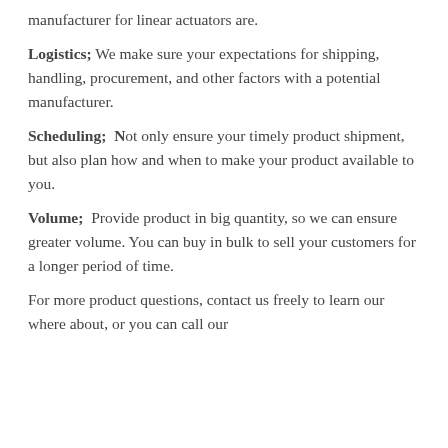manufacturer for linear actuators are.
Logistics; We make sure your expectations for shipping, handling, procurement, and other factors with a potential manufacturer.
Scheduling;  Not only ensure your timely product shipment, but also plan how and when to make your product available to you.
Volume;  Provide product in big quantity, so we can ensure greater volume. You can buy in bulk to sell your customers for a longer period of time.
For more product questions, contact us freely to learn our where about, or you can call our